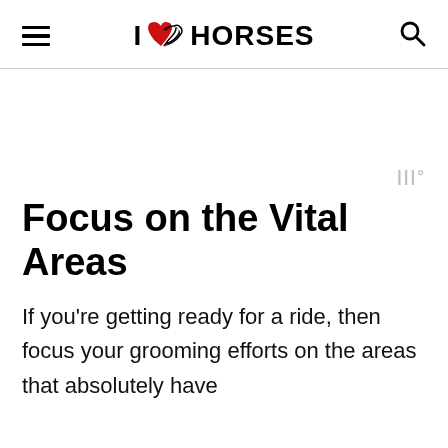I ♥ HORSES
Focus on the Vital Areas
If you're getting ready for a ride, then focus your grooming efforts on the areas that absolutely have